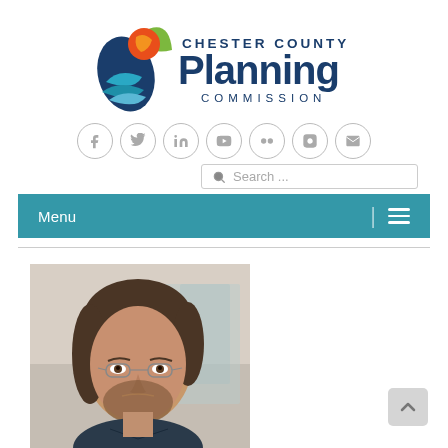[Figure (logo): Chester County Planning Commission logo with colorful bird/leaf emblem and navy blue text]
[Figure (infographic): Row of 7 social media icons in circles: Facebook, Twitter, LinkedIn, YouTube, Flickr, Instagram, Email]
[Figure (screenshot): Search bar with magnifying glass icon and placeholder text 'Search ...']
[Figure (infographic): Teal navigation menu bar with 'Menu' text on left, vertical divider, and hamburger menu icon on right]
[Figure (photo): Portrait photo of a middle-aged man with glasses and beard, wearing business attire, cropped to show face and upper shoulders]
[Figure (other): Scroll-to-top button (light gray rounded rectangle with upward arrow)]